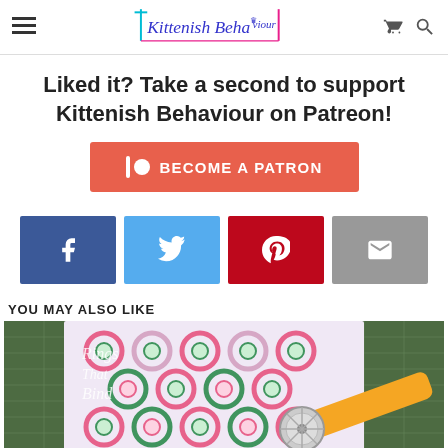Kittenish Behaviour
Liked it? Take a second to support Kittenish Behaviour on Patreon!
[Figure (other): Patreon 'Become a Patron' button in orange-red]
[Figure (other): Social share buttons: Facebook, Twitter, Pinterest, Email]
YOU MAY ALSO LIKE
[Figure (photo): Photo of a quilting book titled 'Rings That Bind' on a cutting mat with a rotary cutter]